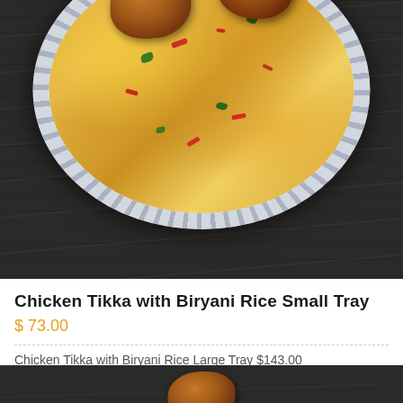[Figure (photo): A large plate of Chicken Tikka with Biryani Rice on a dark wood background. The plate has a blue and white striped rim, filled with saffron-colored basmati rice mixed with red peppers and green herbs, topped with browned chicken tikka pieces.]
Chicken Tikka with Biryani Rice Small Tray
$ 73.00
Chicken Tikka with Biryani Rice Large Tray $143.00
[Figure (photo): Partial view of another food item on dark wood background, showing the bottom portion of the next menu item.]